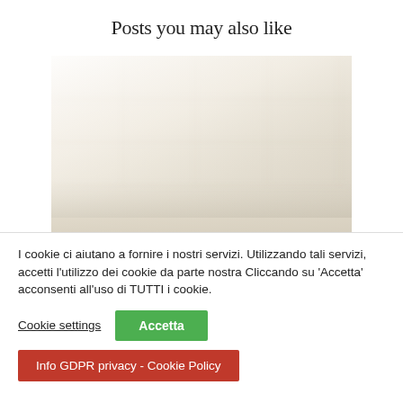Posts you may also like
[Figure (photo): A blurred photo of a light-colored tiled wall or surface, beige/cream tones, out of focus]
I cookie ci aiutano a fornire i nostri servizi. Utilizzando tali servizi, accetti l'utilizzo dei cookie da parte nostra Cliccando su 'Accetta' acconsenti all'uso di TUTTI i cookie.
Cookie settings  Accetta
Info GDPR privacy - Cookie Policy